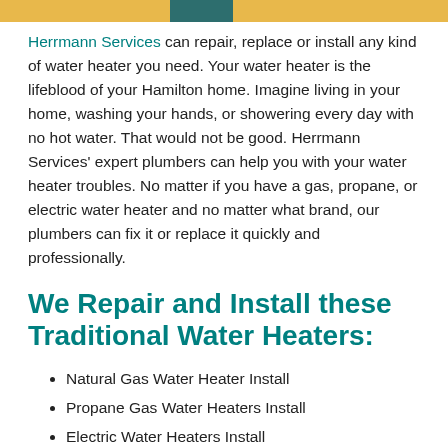[Figure (other): Top decorative bar with gold and teal colors]
Herrmann Services can repair, replace or install any kind of water heater you need. Your water heater is the lifeblood of your Hamilton home. Imagine living in your home, washing your hands, or showering every day with no hot water. That would not be good. Herrmann Services' expert plumbers can help you with your water heater troubles. No matter if you have a gas, propane, or electric water heater and no matter what brand, our plumbers can fix it or replace it quickly and professionally.
We Repair and Install these Traditional Water Heaters:
Natural Gas Water Heater Install
Propane Gas Water Heaters Install
Electric Water Heaters Install